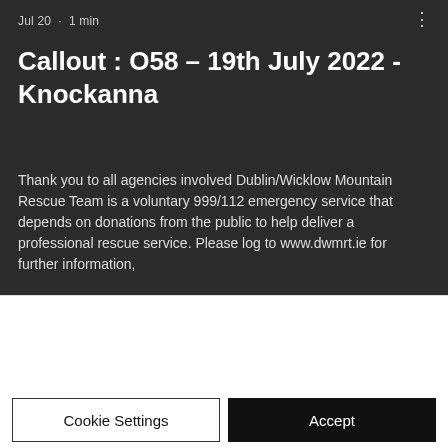Jul 20 · 1 min
Callout : O58 – 19th July 2022 - Knockanna
Thank you to all agencies involved Dublin/Wicklow Mountain Rescue Team is a voluntary 999/112 emergency service that depends on donations from the public to help deliver a professional rescue service. Please log to www.dwmrt.ie for further information,
We use cookies and similar technologies to enable services and functionality on our site and to understand your interaction with our service. By clicking on accept, you agree to our use of such technologies for marketing and analytics.
Cookie Settings
Accept